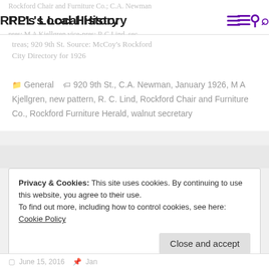RPL's Local History
Rockford Chair and Furniture Co.; C.A. Newman pres; M A Kjellgren vice-pres; R C Lind sec-treas; 920 9th St. Source: McCoy's Rockford City Directory for 1926
General  920 9th St., C.A. Newman, January 1926, M A Kjellgren, new pattern, R. C. Lind, Rockford Chair and Furniture Co., Rockford Furniture Herald, walnut secretary
Privacy & Cookies: This site uses cookies. By continuing to use this website, you agree to their use.
To find out more, including how to control cookies, see here:
Cookie Policy
Close and accept
June 15, 2016   Jan